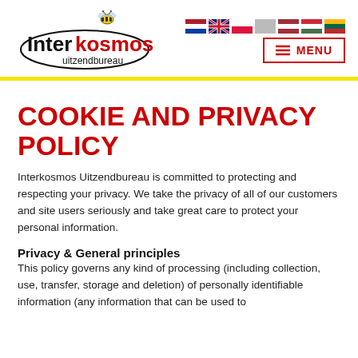[Figure (logo): Interkosmos uitzendbureau logo with bee graphic and oval outline]
[Figure (infographic): Row of country flags: Netherlands, UK, Poland, unknown/grey, Latvia, Hungary, Lithuania]
[Figure (other): MENU button with hamburger icon, red border]
COOKIE AND PRIVACY POLICY
Interkosmos Uitzendbureau is committed to protecting and respecting your privacy. We take the privacy of all of our customers and site users seriously and take great care to protect your personal information.
Privacy & General principles
This policy governs any kind of processing (including collection, use, transfer, storage and deletion) of personally identifiable information (any information that can be used to...